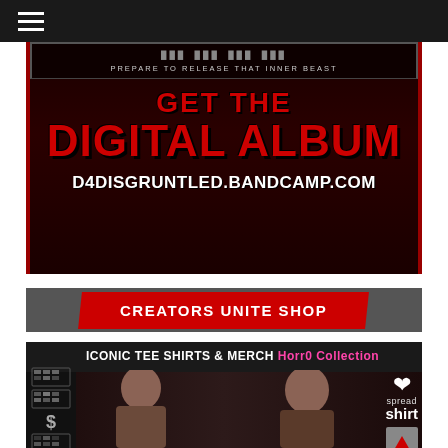[Figure (screenshot): Dark navigation bar with hamburger menu icon (three white horizontal lines)]
[Figure (infographic): Album promotion banner on dark red textured background. Text reads 'PREPARE TO RELEASE THAT INNER BEAST', 'GET THE DIGITAL ALBUM', 'd4disgruntled.bandcamp.com']
[Figure (infographic): Creators Unite Shop banner with red diagonal background]
[Figure (infographic): Iconic Tee Shirts & Merch HorrO Collection banner showing two models (male and female) with Spreadshirt logo, on dark background with pixel art logo on left]